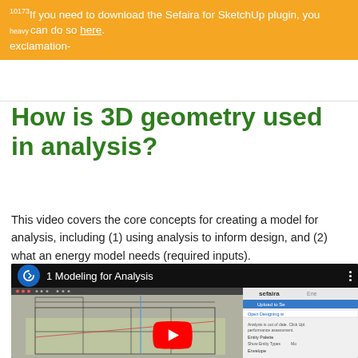If you need to download the Sefaira for SketchUp plugin, you can do so here. exclamation-
How is 3D geometry used in analysis?
This video covers the core concepts for creating a model for analysis, including (1) using analysis to inform design, and (2) what an energy model needs (required inputs).
[Figure (screenshot): YouTube video thumbnail showing '1 Modeling for Analysis' with Sefaira logo, featuring a 3D SketchUp building model wireframe and the Sefaira plugin panel on the right side.]